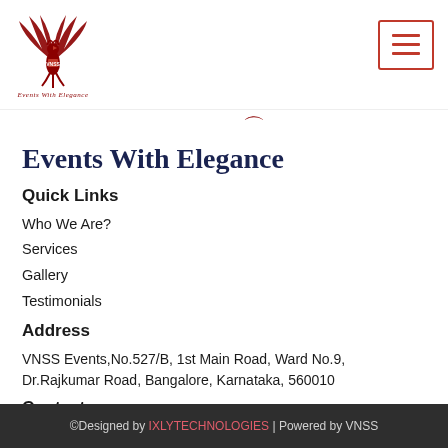[Figure (logo): Red phoenix/eagle logo with 'Events With Elegance' text and hamburger menu icon in top right]
Events With Elegance
Quick Links
Who We Are?
Services
Gallery
Testimonials
Address
VNSS Events,No.527/B, 1st Main Road, Ward No.9, Dr.Rajkumar Road, Bangalore, Karnataka, 560010
Contact
7795033246
©Designed by IXLYTECHNOLOGIES | Powered by VNSS